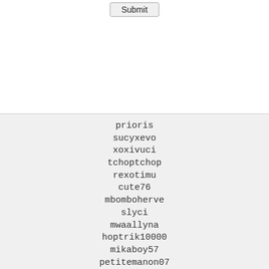[Figure (screenshot): A Submit button rendered as a browser form element at the top of the page]
prioris
sucyxevo
xoxivuci
tchoptchop
rexotimu
cute76
mbomboherve
slyci
mwaallyna
hoptrik10000
mikaboy57
petitemanon07
elgoozino
rachleite
pugoraj